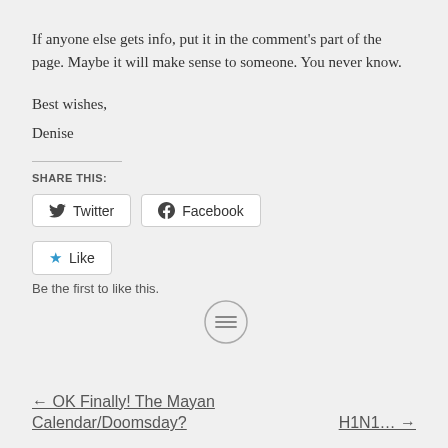If anyone else gets info, put it in the comment's part of the page. Maybe it will make sense to someone. You never know.
Best wishes,
Denise
SHARE THIS:
[Figure (screenshot): Social share buttons: Twitter and Facebook buttons with icons, and a Like button with blue star icon]
Be the first to like this.
[Figure (other): Circle icon with horizontal lines (text/list symbol)]
← OK Finally! The Mayan Calendar/Doomsday?
H1N1... →